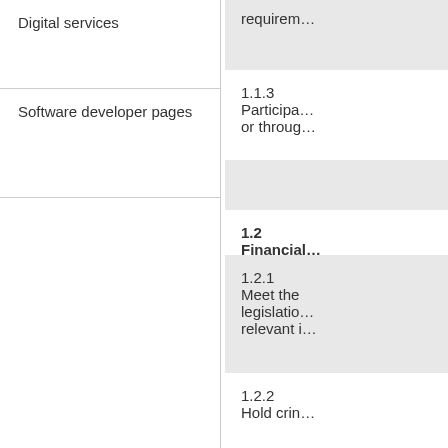| Digital services | requirem… |
| Software developer pages | 1.1.3	Participa… or throug… |
|  | 1.2	Financial… |
|  | 1.2.1	Meet the legislatio… relevant i… |
|  | 1.2.2	Hold crin… |